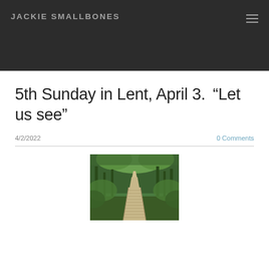JACKIE SMALLBONES
5th Sunday in Lent, April 3.  “Let us see”
4/2/2022
0 Comments
[Figure (photo): A wooden boardwalk path winding through a green forest, viewed from slightly above, surrounded by trees and lush green foliage.]